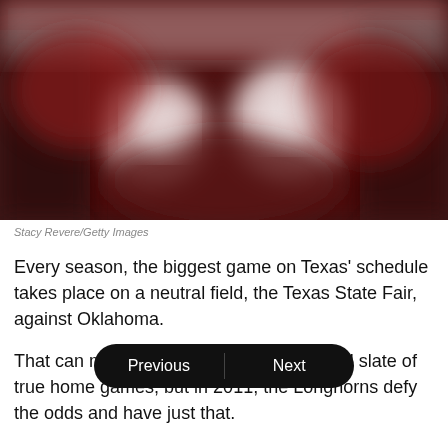[Figure (photo): Blurred photo showing what appears to be football players or people in dark red/maroon jerseys on a field or crowd setting, heavily blurred]
Stacy Revere/Getty Images
Every season, the biggest game on Texas' schedule takes place on a neutral field, the Texas State Fair, against Oklahoma.
That can make it difficult to have a stacked slate of true home games, but in 2011, the Longhorns defy the odds and have just that.